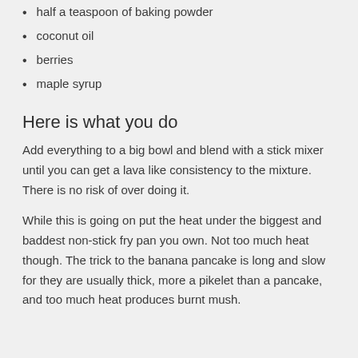half a teaspoon of baking powder
coconut oil
berries
maple syrup
Here is what you do
Add everything to a big bowl and blend with a stick mixer until you can get a lava like consistency to the mixture. There is no risk of over doing it.
While this is going on put the heat under the biggest and baddest non-stick fry pan you own. Not too much heat though. The trick to the banana pancake is long and slow for they are usually thick, more a pikelet than a pancake, and too much heat produces burnt mush.